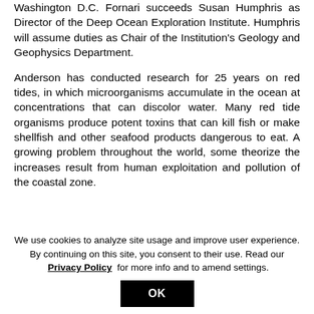Washington D.C. Fornari succeeds Susan Humphris as Director of the Deep Ocean Exploration Institute. Humphris will assume duties as Chair of the Institution's Geology and Geophysics Department.
Anderson has conducted research for 25 years on red tides, in which microorganisms accumulate in the ocean at concentrations that can discolor water. Many red tide organisms produce potent toxins that can kill fish or make shellfish and other seafood products dangerous to eat. A growing problem throughout the world, some theorize the increases result from human exploitation and pollution of the coastal zone.
We use cookies to analyze site usage and improve user experience. By continuing on this site, you consent to their use. Read our Privacy Policy for more info and to amend settings.